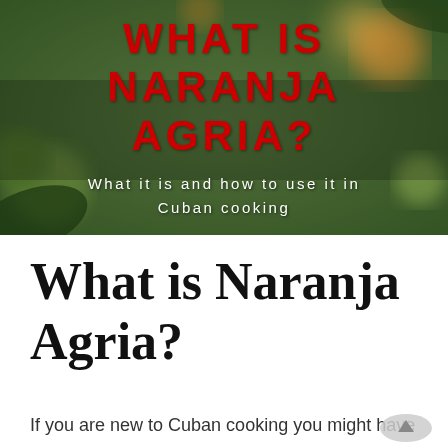[Figure (photo): Blurred bokeh background with green foliage and orange/warm light circles. Overlaid with bold red uppercase text 'WHAT IS NARANJA AGRIA?' and white subtitle 'What it is and how to use it in Cuban cooking'.]
What is Naranja Agria?
If you are new to Cuban cooking you might have